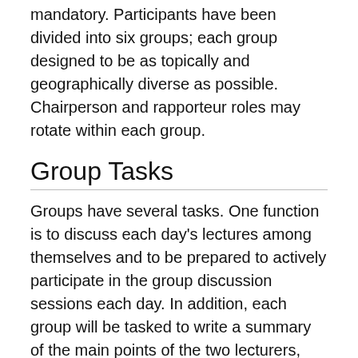mandatory. Participants have been divided into six groups; each group designed to be as topically and geographically diverse as possible. Chairperson and rapporteur roles may rotate within each group.
Group Tasks
Groups have several tasks. One function is to discuss each day's lectures among themselves and to be prepared to actively participate in the group discussion sessions each day. In addition, each group will be tasked to write a summary of the main points of the two lecturers, one from the first week and one from the second week. Responsibilities may be divided (that is, each of the six students might be responsible for producing a lecture transcription, editing duties could be divided, etc). The lecture summaries should include comments by the group on the broader implications of the lectures, critical analysis of the research area covered, and resonance to other